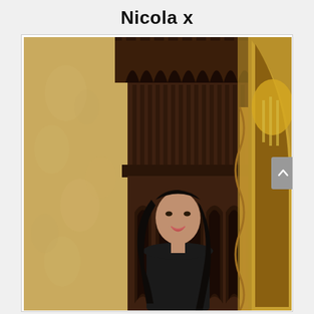Nicola x
[Figure (photo): A young woman with long dark hair wearing a black top stands in front of an ornate dark wood Gothic-style cabinet or wardrobe. The background shows gold floral damask wallpaper on the left and an arched gilded mirror reflecting a chandelier on the right. The setting appears to be an elegant Victorian or Gothic-style interior.]